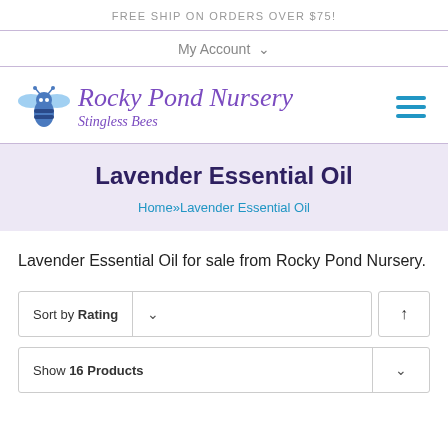FREE SHIP ON ORDERS OVER $75!
My Account
[Figure (logo): Rocky Pond Nursery logo with bee icon and text 'Rocky Pond Nursery Stingless Bees' in purple italic font]
Lavender Essential Oil
Home»Lavender Essential Oil
Lavender Essential Oil for sale from Rocky Pond Nursery.
Sort by Rating
Show 16 Products